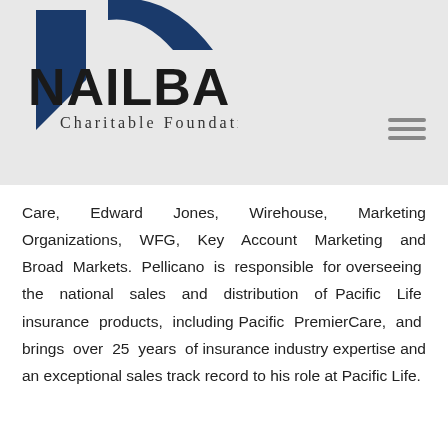[Figure (logo): NAILBA Charitable Foundation logo with blue arch/house graphic above the text NAILBA and subtitle Charitable Foundation]
Care, Edward Jones, Wirehouse, Marketing Organizations, WFG, Key Account Marketing and Broad Markets. Pellicano is responsible for overseeing the national sales and distribution of Pacific Life insurance products, including Pacific PremierCare, and brings over 25 years of insurance industry expertise and an exceptional sales track record to his role at Pacific Life.